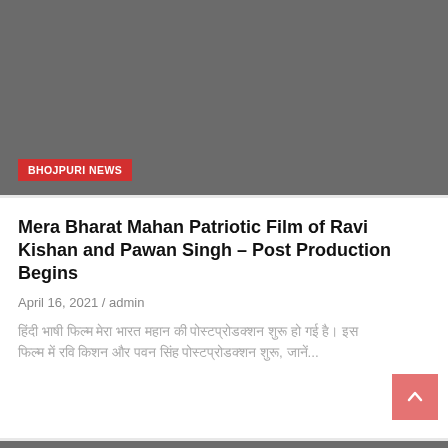[Figure (photo): Dark gray placeholder image block at top of page with BHOJPURI NEWS badge overlay]
BHOJPURI NEWS
Mera Bharat Mahan Patriotic Film of Ravi Kishan and Pawan Singh – Post Production Begins
April 16, 2021 / admin
हिंदी भाषी फिल्म मेरा भारत महान की पोस्टप्रोडक्शन शुरू हो गई है। इस फिल्म में रवि किशन और पवन सिंह पोस्टप्रोडक्शन शुरू, जानें...
[Figure (photo): Dark gray placeholder image block at bottom of page]